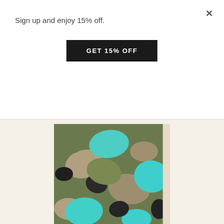Sign up and enjoy 15% off.
GET 15% OFF
[Figure (photo): Camouflage fabric with army green, taupe, and aquamarine abstract pattern]
Army/Taupe/Aquamarine Abstract Camo Chiffon
Item Number: 93943
-Printed nylon chiffon-Weight: Lightweight-Transparency: Sheer-Hand: Very soft, delicately textured-Stretch: No Stretch-Drape: Very Good Drape-Luster: Matte-End Uses: Lined Dresses, Lined Blouses ...
$5.95 / Yard